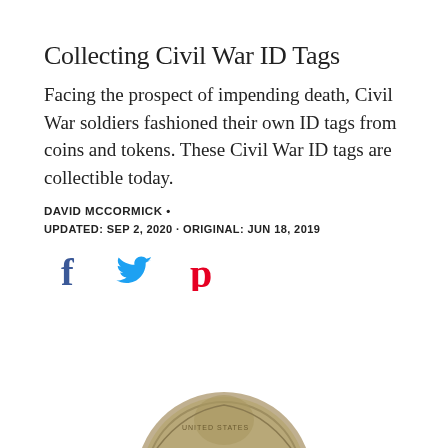Collecting Civil War ID Tags
Facing the prospect of impending death, Civil War soldiers fashioned their own ID tags from coins and tokens. These Civil War ID tags are collectible today.
DAVID MCCORMICK •
UPDATED: SEP 2, 2020 · ORIGINAL: JUN 18, 2019
[Figure (infographic): Social sharing icons: Facebook (blue f), Twitter (blue bird), Pinterest (red P)]
[Figure (photo): A Civil War era coin with engraved ID tag text, partially visible at bottom of page, silver/gray toned coin with text including LIBERTY]